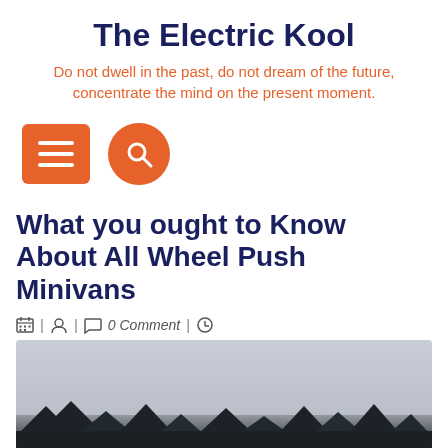The Electric Kool
Do not dwell in the past, do not dream of the future, concentrate the mind on the present moment.
[Figure (infographic): Two navigation buttons: a rectangular orange hamburger menu button and a circular orange search button with a magnifying glass icon]
What you ought to Know About All Wheel Push Minivans
| | 0 Comment |
[Figure (photo): Outdoor photo showing a silhouette of trees and a vehicle against a grey sky]